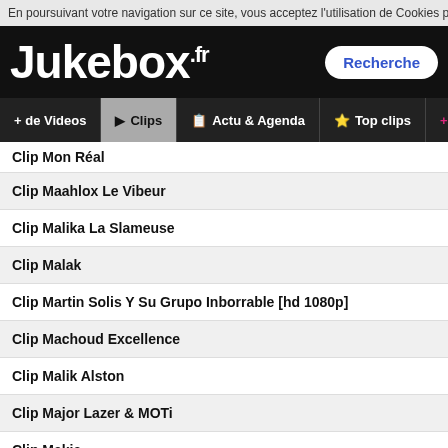En poursuivant votre navigation sur ce site, vous acceptez l'utilisation de Cookies po
Jukebox.fr
+ de Videos | Clips | Actu & Agenda | Top clips | Playlist
Clip Mon Réal
Clip Maahlox Le Vibeur
Clip Malika La Slameuse
Clip Malak
Clip Martin Solis Y Su Grupo Inborrable [hd 1080p]
Clip Machoud Excellence
Clip Malik Alston
Clip Major Lazer & MOTi
Clip Makja
Clip Marc E Bassy
Clip Musica Sequenza